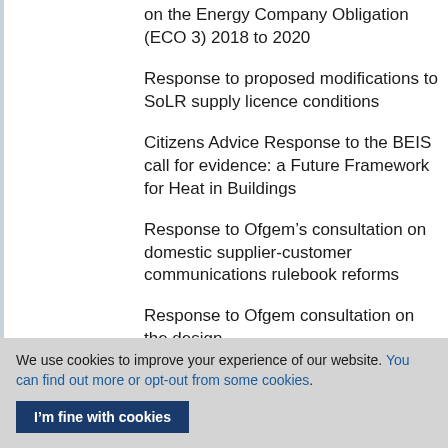on the Energy Company Obligation (ECO 3) 2018 to 2020
Response to proposed modifications to SoLR supply licence conditions
Citizens Advice Response to the BEIS call for evidence: a Future Framework for Heat in Buildings
Response to Ofgem’s consultation on domestic supplier-customer communications rulebook reforms
Response to Ofgem consultation on the design
We use cookies to improve your experience of our website. You can find out more or opt-out from some cookies.
I’m fine with cookies